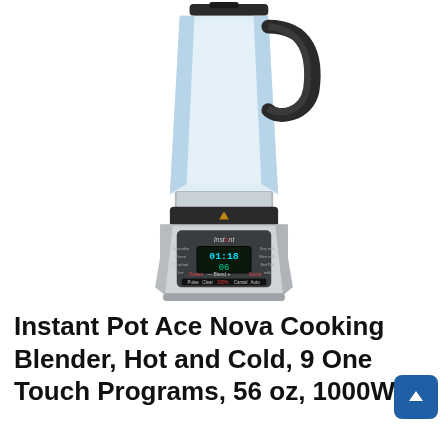[Figure (photo): Instant Pot Ace Nova Cooking Blender product photo on white background. Stainless steel and black blender with clear glass pitcher, digital control panel with timer display showing 01:18 and 06, multiple touch buttons including Pulse, Clear, Blend, Cancel functions.]
Instant Pot Ace Nova Cooking Blender, Hot and Cold, 9 One Touch Programs, 56 oz, 1000W